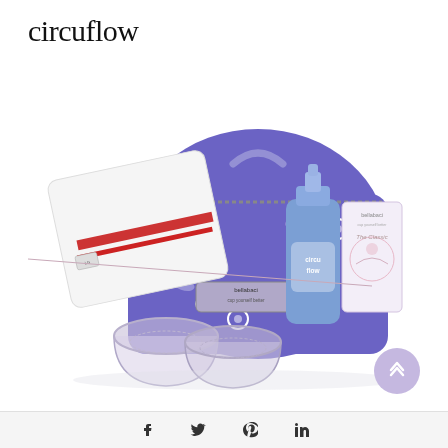circuflow
[Figure (photo): Bellabaci product set including a purple patterned bag/case, two clear cupping massage cups, a purple pump bottle labeled circuflow, a product box with floral design, and a white cloth with red stripes, all arranged together on a white background.]
Social media share icons: Facebook, Twitter, Pinterest, LinkedIn